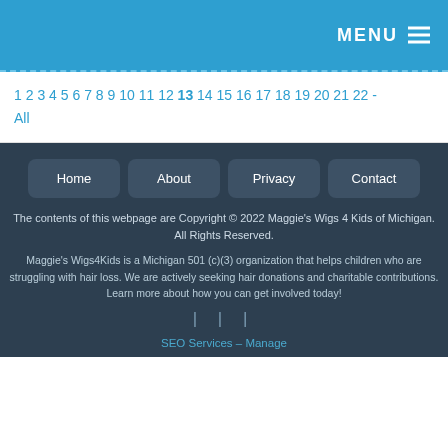MENU
1 2 3 4 5 6 7 8 9 10 11 12 13 14 15 16 17 18 19 20 21 22 - All
Home  About  Privacy  Contact
The contents of this webpage are Copyright © 2022 Maggie's Wigs 4 Kids of Michigan. All Rights Reserved.
Maggie's Wigs4Kids is a Michigan 501 (c)(3) organization that helps children who are struggling with hair loss. We are actively seeking hair donations and charitable contributions. Learn more about how you can get involved today!
| | |
SEO Services - Manage